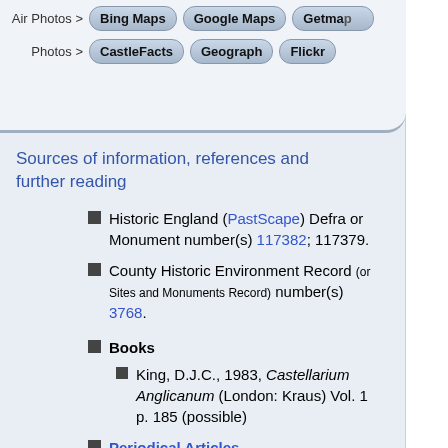[Figure (screenshot): Top navigation bar with buttons: Air Photos > Bing Maps, Google Maps, Getmap; Photos > CastleFacts, Geograph, Flickr]
Sources of information, references and further reading
Historic England (PastScape) Defra or Monument number(s) 117382; 117379.
County Historic Environment Record (or Sites and Monuments Record) number(s) 3768.
Books
King, D.J.C., 1983, Castellarium Anglicanum (London: Kraus) Vol. 1 p. 185 (possible)
Periodical Articles
Rawes, B., 1977, 'A Check List of Castles and other Fortified Sites of Medieval Date in